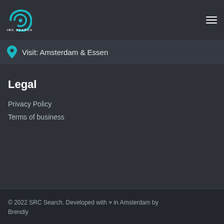[Figure (logo): SRC Search spiral logo with teal/cyan colors and text 'SRC SEARCH' below]
Visit: Amsterdam & Essen
Legal
Privacy Policy
Terms of business
© 2022 SRC Search. Developed with ♥ in Amsterdam by Brendly